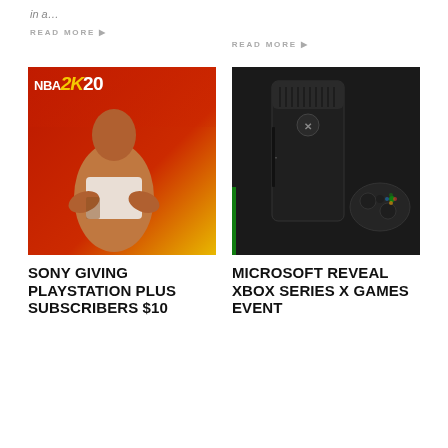in a…
READ MORE ▶
READ MORE ▶
[Figure (photo): NBA 2K20 game cover featuring a basketball player on a red and yellow background with the NBA 2K20 logo]
[Figure (photo): Xbox Series X console and controller on a dark background with green accent light]
SONY GIVING PLAYSTATION PLUS SUBSCRIBERS $10
MICROSOFT REVEAL XBOX SERIES X GAMES EVENT